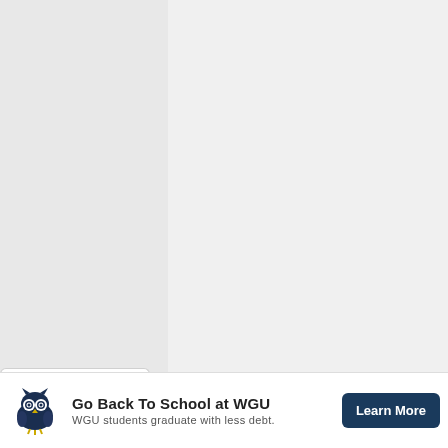[Figure (screenshot): Light gray document preview area — blank rendered PDF/document page background]
[Figure (other): Collapse/expand chevron button at lower left, white rounded rectangle with down-arrow chevron symbol]
[Figure (other): Advertisement banner at bottom: WGU owl logo on left, bold text 'Go Back To School at WGU' with subtitle 'WGU students graduate with less debt.', dark blue 'Learn More' button on right. Ad attribution icons (play/forward icon and X close icon) in top-right corner of banner area.]